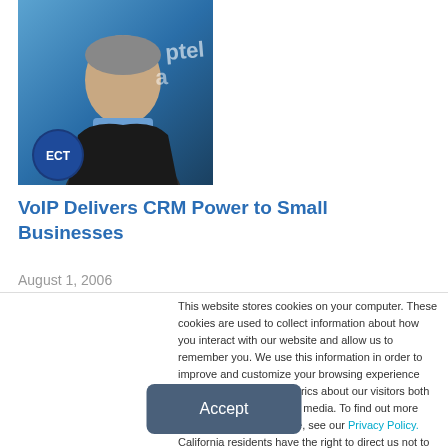[Figure (photo): Headshot of a man in a suit against a blue branded background with ECT logo badge in corner]
VoIP Delivers CRM Power to Small Businesses
August 1, 2006
[Figure (photo): Partial image strip showing a person, partially visible]
This website stores cookies on your computer. These cookies are used to collect information about how you interact with our website and allow us to remember you. We use this information in order to improve and customize your browsing experience and for analytics and metrics about our visitors both on this website and other media. To find out more about the cookies we use, see our Privacy Policy. California residents have the right to direct us not to sell their personal information to third parties by filing an Opt-Out Request: Do Not Sell My Personal Info.